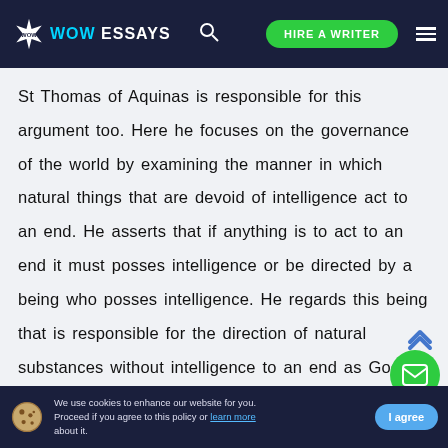WOW ESSAYS | HIRE A WRITER
St Thomas of Aquinas is responsible for this argument too. Here he focuses on the governance of the world by examining the manner in which natural things that are devoid of intelligence act to an end. He asserts that if anything is to act to an end it must posses intelligence or be directed by a being who posses intelligence. He regards this being that is responsible for the direction of natural substances without intelligence to an end as God.
We use cookies to enhance our website for you. Proceed if you agree to this policy or learn more about it. I agree